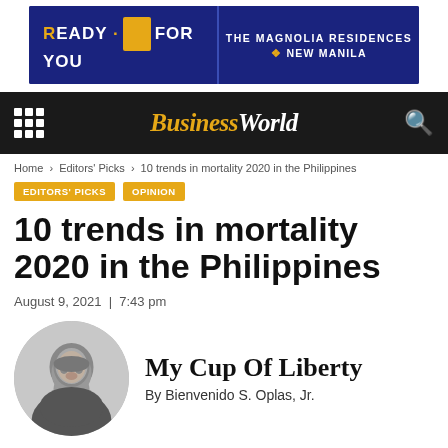[Figure (other): Advertisement banner for The Magnolia Residences New Manila — dark blue background, text READY FOR YOU on the left, THE MAGNOLIA RESIDENCES NEW MANILA on the right]
BusinessWorld
Home › Editors' Picks › 10 trends in mortality 2020 in the Philippines
EDITORS' PICKS
OPINION
10 trends in mortality 2020 in the Philippines
August 9, 2021  |  7:43 pm
[Figure (photo): Black and white circular headshot of a smiling middle-aged Asian man in a dark blazer]
My Cup Of Liberty
By Bienvenido S. Oplas, Jr.
[Figure (other): Social media sharing buttons: Facebook, WhatsApp, Twitter, LinkedIn, Email]